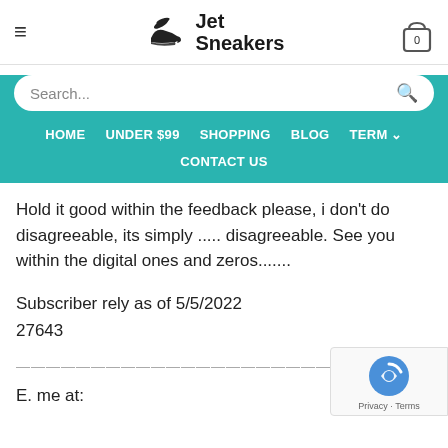Jet Sneakers
Search...
HOME   UNDER $99   SHOPPING   BLOG   TERM   CONTACT US
Hold it good within the feedback please, i don't do disagreeable, its simply ..... disagreeable. See you within the digital ones and zeros.......
Subscriber rely as of 5/5/2022
27643
——————————————————————————————————————————
E. me at: